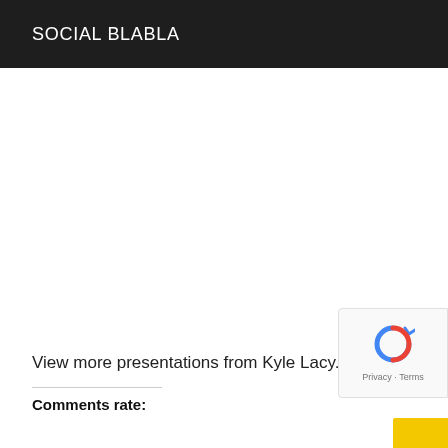SOCIAL BLABLA
View more presentations from Kyle Lacy.
Comments rate: